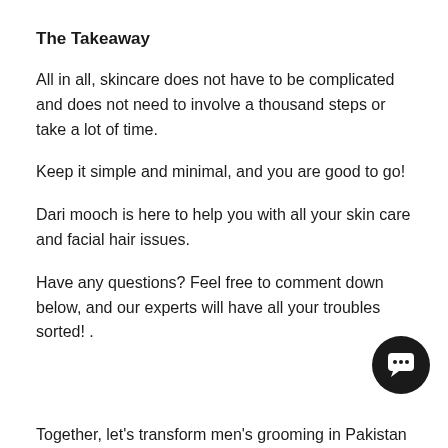The Takeaway
All in all, skincare does not have to be complicated and does not need to involve a thousand steps or take a lot of time.
Keep it simple and minimal, and you are good to go!
Dari mooch is here to help you with all your skin care and facial hair issues.
Have any questions? Feel free to comment down below, and our experts will have all your troubles sorted! .
[Figure (other): Chat support button icon — circular black button with a speech bubble icon]
Together, let's transform men's grooming in Pakistan